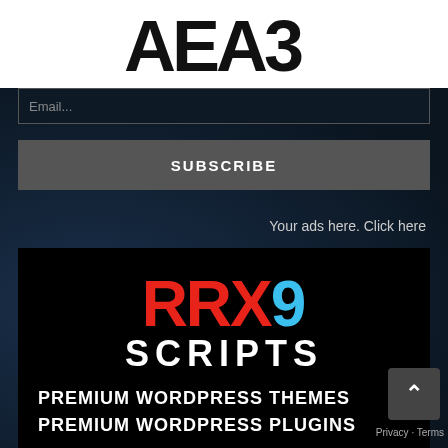[Figure (logo): AEA3 logo in bold black blocky letters on white background]
Email...
SUBSCRIBE
Your ads here. Click here
[Figure (logo): RRX9 SCRIPTS logo — RRX in red, 9 in blue, SCRIPTS in white below, then PREMIUM WORDPRESS THEMES and PREMIUM WORDPRESS PLUGINS text, on black background]